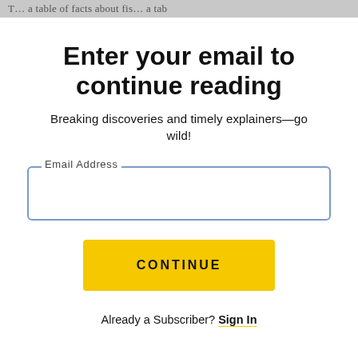The … a table of facts about fis… a tab
Enter your email to continue reading
Breaking discoveries and timely explainers—go wild!
Email Address
CONTINUE
Already a Subscriber? Sign In